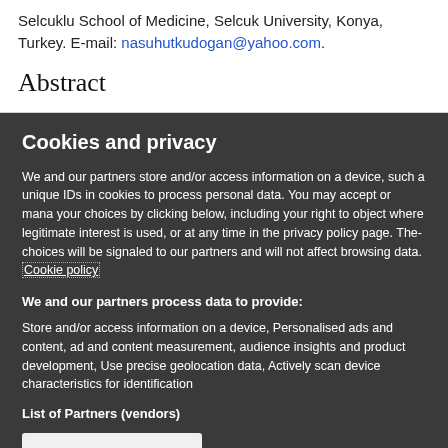Selcuklu School of Medicine, Selcuk University, Konya, Turkey. E-mail: nasuhutkudogan@yahoo.com.
Abstract
Cookies and privacy
We and our partners store and/or access information on a device, such as unique IDs in cookies to process personal data. You may accept or manage your choices by clicking below, including your right to object where legitimate interest is used, or at any time in the privacy policy page. These choices will be signaled to our partners and will not affect browsing data. Cookie policy
We and our partners process data to provide:
Store and/or access information on a device, Personalised ads and content, ad and content measurement, audience insights and product development, Use precise geolocation data, Actively scan device characteristics for identification
List of Partners (vendors)